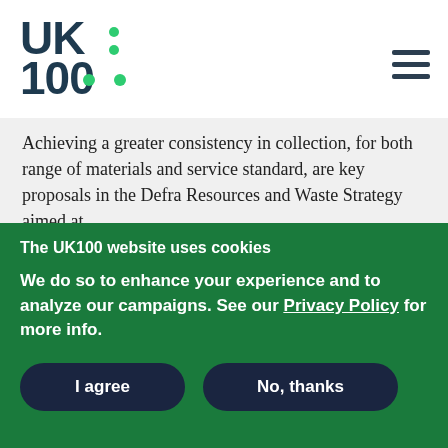[Figure (logo): UK100 logo — stylized text 'UK:100' with green dots used as colons, dark teal/navy color]
Achieving a greater consistency in collection, for both range of materials and service standard, are key proposals in the Defra Resources and Waste Strategy aimed at
The UK100 website uses cookies
We do so to enhance your experience and to analyze our campaigns. See our Privacy Policy for more info.
I agree
No, thanks